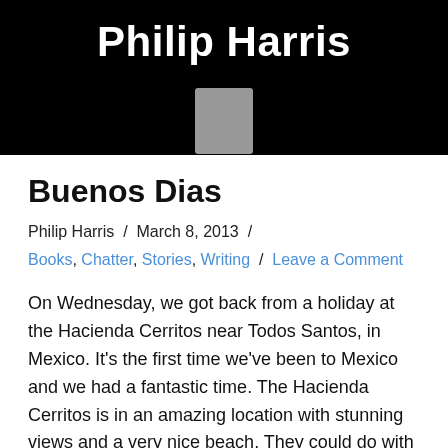Philip Harris
[Figure (other): Gray rectangular avatar/image placeholder on black background]
Buenos Dias
Philip Harris / March 8, 2013 /
Books, Chatter, Stories, Writing / Leave a Comment
On Wednesday, we got back from a holiday at the Hacienda Cerritos near Todos Santos, in Mexico. It's the first time we've been to Mexico and we had a fantastic time. The Hacienda Cerritos is in an amazing location with stunning views and a very nice beach. They could do with a new set of pool balls though. The Hacienda Cerritos, Mexico We were planning a very